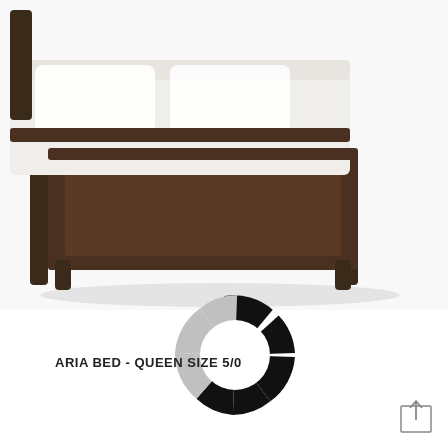[Figure (photo): Photo of a dark brown wooden queen bed frame with white bedding, showing the footboard and side rails with a subtle light-colored inlay detail. The bed has tapered legs and a paneled footboard.]
[Figure (donut-chart): A segmented donut/ring chart with alternating light gray and black segments, approximately 6-8 segments total, partially obscured by overlapping text label.]
ARIA BED - QUEEN SIZE 5/0
[Figure (other): Small icon in bottom-right corner showing a rectangle with an upward arrow, representing an upload or share action.]